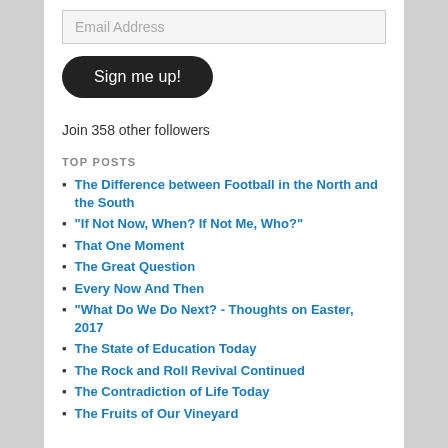Email Address
Sign me up!
Join 358 other followers
TOP POSTS
The Difference between Football in the North and the South
“If Not Now, When? If Not Me, Who?”
That One Moment
The Great Question
Every Now And Then
“What Do We Do Next? - Thoughts on Easter, 2017
The State of Education Today
The Rock and Roll Revival Continued
The Contradiction of Life Today
The Fruits of Our Vineyard